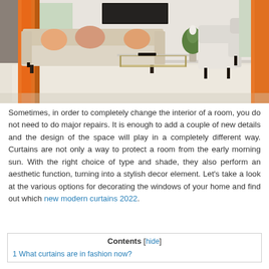[Figure (photo): Interior living room with a beige sofa with peach/salmon cushions, two white armchairs, a glass/gold coffee table, and bright orange curtains on the windows. White carpet on floor, neutral decor.]
Sometimes, in order to completely change the interior of a room, you do not need to do major repairs. It is enough to add a couple of new details and the design of the space will play in a completely different way. Curtains are not only a way to protect a room from the early morning sun. With the right choice of type and shade, they also perform an aesthetic function, turning into a stylish decor element. Let's take a look at the various options for decorating the windows of your home and find out which new modern curtains 2022.
| Contents [hide] |
| 1 What curtains are in fashion now? |